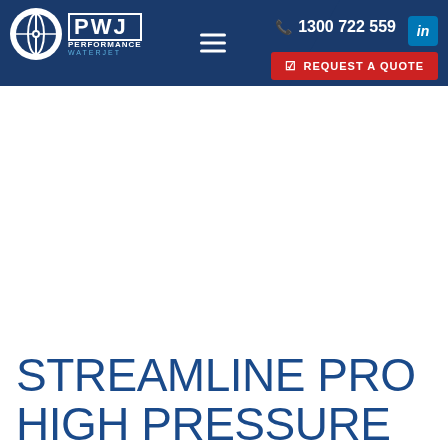[Figure (logo): PWJ Performance Waterjet logo with circular icon and text]
1300 722 559 | REQUEST A QUOTE
STREAMLINE PRO HIGH PRESSURE